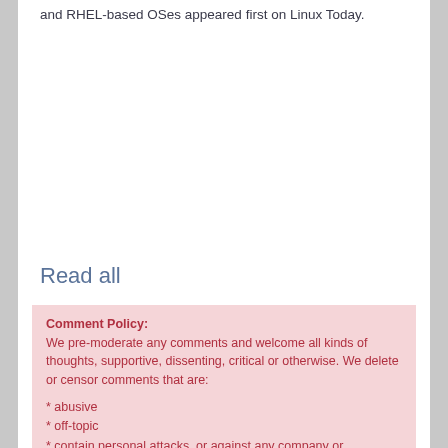and RHEL-based OSes appeared first on Linux Today.
Read all
Comment Policy: We pre-moderate any comments and welcome all kinds of thoughts, supportive, dissenting, critical or otherwise. We delete or censor comments that are:
* abusive
* off-topic
* contain personal attacks, or against any company or organization
* promote hate of any kind
* use excessively foul language